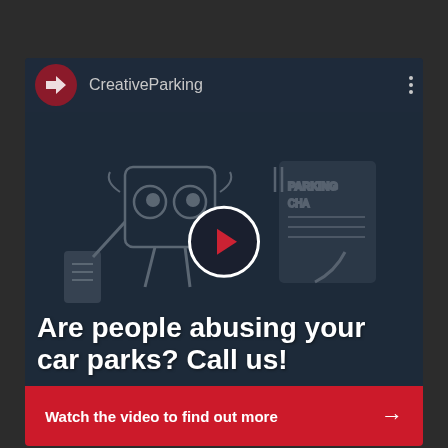[Figure (screenshot): Mobile app screenshot showing CreativeParking YouTube channel card with a cartoon illustration of a parking charge notice character, a play button overlay, bold white text 'Are people abusing your car parks? Call us!' and a red CTA button 'Watch the video to find out more →']
CreativeParking
Are people abusing your car parks? Call us!
Watch the video to find out more →